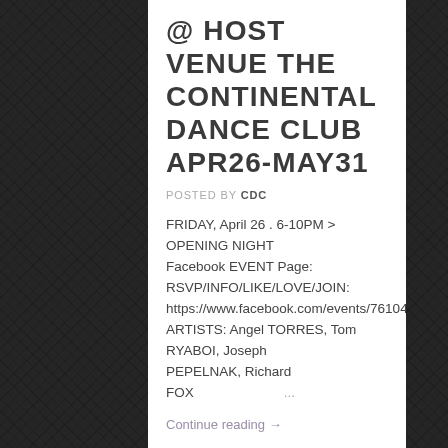@ HOST VENUE THE CONTINENTAL DANCE CLUB APR26-MAY31
POSTED BY CDC
FRIDAY, April 26 . 6-10PM > OPENING NIGHT Facebook EVENT Page: RSVP/INFO/LIKE/LOVE/JOIN: https://www.facebook.com/events/761044090909697/ ARTISTS: Angel TORRES, Tom RYABOI, Joseph PEPELNAK, Richard FOX ...
Continue reading →